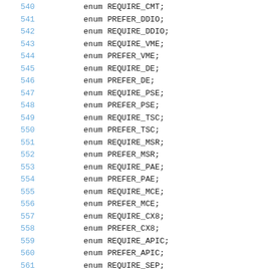540    enum REQUIRE_CMT;
541    enum PREFER_DDIO;
542    enum REQUIRE_DDIO;
543    enum REQUIRE_VME;
544    enum PREFER_VME;
545    enum REQUIRE_DE;
546    enum PREFER_DE;
547    enum REQUIRE_PSE;
548    enum PREFER_PSE;
549    enum REQUIRE_TSC;
550    enum PREFER_TSC;
551    enum REQUIRE_MSR;
552    enum PREFER_MSR;
553    enum REQUIRE_PAE;
554    enum PREFER_PAE;
555    enum REQUIRE_MCE;
556    enum PREFER_MCE;
557    enum REQUIRE_CX8;
558    enum PREFER_CX8;
559    enum REQUIRE_APIC;
560    enum PREFER_APIC;
561    enum REQUIRE_SEP;
562    enum PREFER_SEP;
563    enum REQUIRE_MTRR;
564    enum PREFER_MTRR;